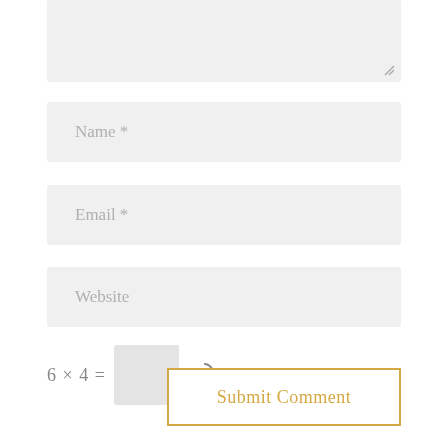[Figure (screenshot): Textarea input box (comment form), light gray background with resize handle at bottom right]
Name *
Email *
Website
6 × 4 =
Submit Comment